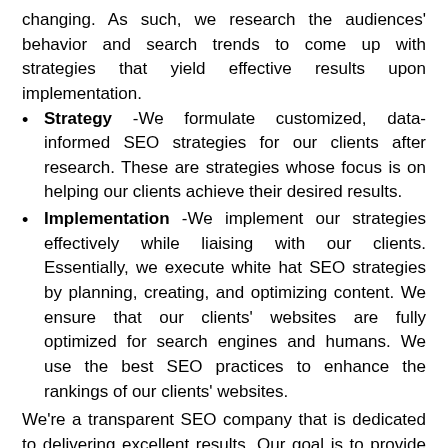changing. As such, we research the audiences' behavior and search trends to come up with strategies that yield effective results upon implementation.
Strategy -We formulate customized, data-informed SEO strategies for our clients after research. These are strategies whose focus is on helping our clients achieve their desired results.
Implementation -We implement our strategies effectively while liaising with our clients. Essentially, we execute white hat SEO strategies by planning, creating, and optimizing content. We ensure that our clients' websites are fully optimized for search engines and humans. We use the best SEO practices to enhance the rankings of our clients' websites.
We're a transparent SEO company that is dedicated to delivering excellent results. Our goal is to provide results-driven SEO services. Trust our SEO services to boost your business' online visibility and bring you more visitors or leads.